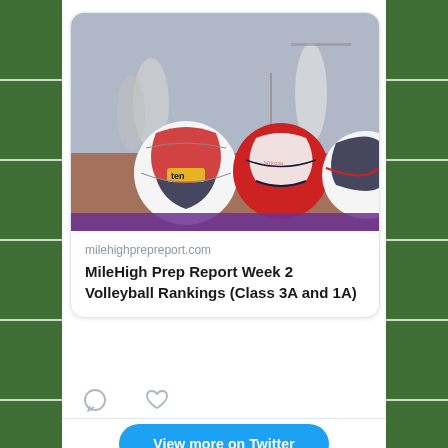[Figure (photo): Volleyball court photo showing three volleyballs in foreground with players in background, one ball branded 'Molten']
milehighprepreport.com
MileHigh Prep Report Week 2 Volleyball Rankings (Class 3A and 1A)
[Figure (other): Comment and heart/like action icons below tweet card]
View more on Twitter
Advertisements
[Figure (other): Victoria's Secret advertisement banner: SHOP THE COLLECTION, SHOP NOW]